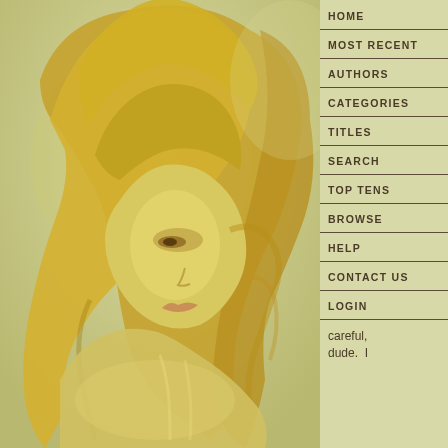[Figure (illustration): Digital illustration of a woman with flowing golden-blonde hair, viewed in profile from the left side, rendered in warm golden-yellow tones. Her face is partially turned, eyes downcast, with a dreamy atmospheric quality.]
HOME
MOST RECENT
AUTHORS
CATEGORIES
TITLES
SEARCH
TOP TENS
BROWSE
HELP
CONTACT US
LOGIN
careful, dude.  I